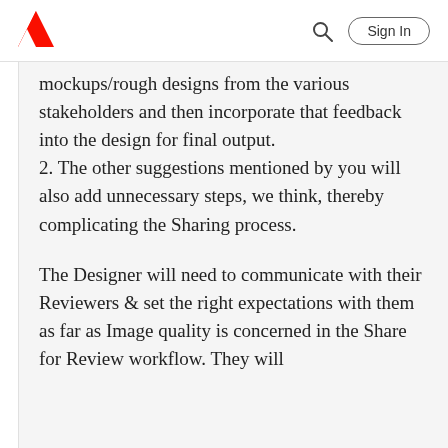Adobe — Sign In
mockups/rough designs from the various stakeholders and then incorporate that feedback into the design for final output.
2. The other suggestions mentioned by you will also add unnecessary steps, we think, thereby complicating the Sharing process.

The Designer will need to communicate with their Reviewers & set the right expectations with them as far as Image quality is concerned in the Share for Review workflow. They will